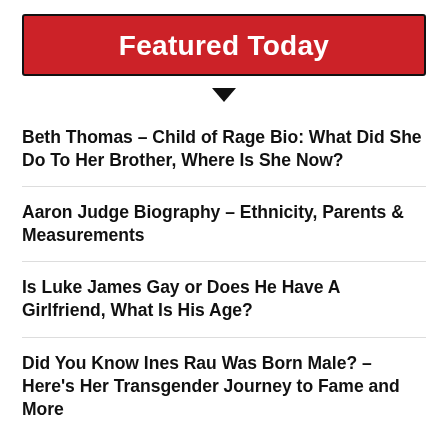Featured Today
Beth Thomas – Child of Rage Bio: What Did She Do To Her Brother, Where Is She Now?
Aaron Judge Biography – Ethnicity, Parents & Measurements
Is Luke James Gay or Does He Have A Girlfriend, What Is His Age?
Did You Know Ines Rau Was Born Male? – Here's Her Transgender Journey to Fame and More